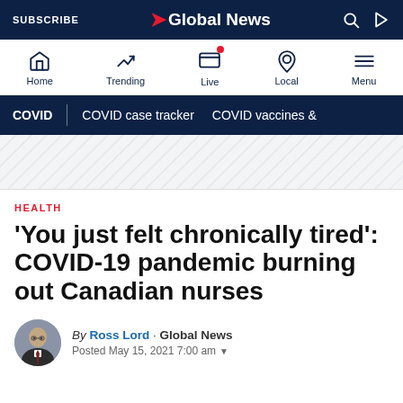SUBSCRIBE | Global News
[Figure (screenshot): Global News website navigation bar with icons: Home, Trending, Live, Local, Menu]
COVID | COVID case tracker | COVID vaccines &
[Figure (other): Advertisement/banner placeholder area with diagonal stripe pattern]
HEALTH
'You just felt chronically tired': COVID-19 pandemic burning out Canadian nurses
By Ross Lord · Global News
Posted May 15, 2021 7:00 am